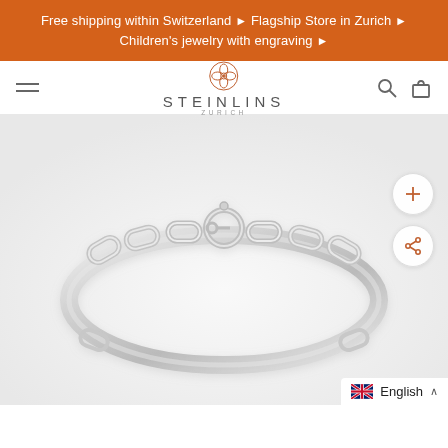Free shipping within Switzerland ▶ Flagship Store in Zurich ▶ Children's jewelry with engraving ▶
[Figure (logo): Steinlins Zurich logo with ornamental circular emblem above the text STEINLINS ZURICH]
[Figure (photo): Silver chain link bracelet photographed on a light background, showing interconnected oval chain links with a spring ring clasp at the top center]
English